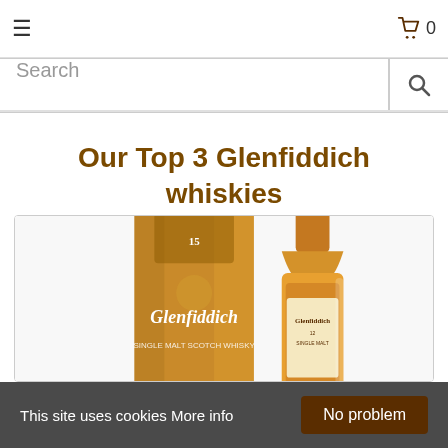☰  0
Search
Our Top 3 Glenfiddich whiskies
[Figure (photo): Two Glenfiddich whisky bottles — a cylindrical golden tin/tube on the left and a bottle of Glenfiddich whisky on the right, both amber/golden colored.]
This site uses cookies More info   No problem